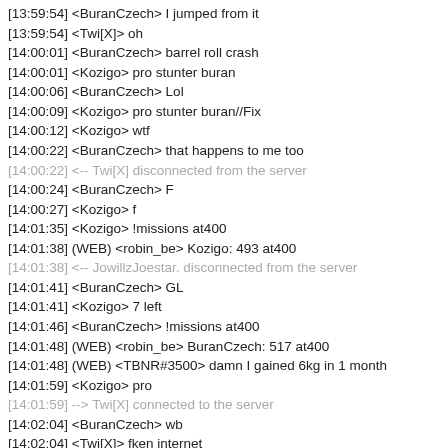[13:59:54] <BuranCzech> I jumped from it
[13:59:54] <Twi[X]> oh
[14:00:01] <BuranCzech> barrel roll crash
[14:00:01] <Kozigo> pro stunter buran
[14:00:06] <BuranCzech> Lol
[14:00:09] <Kozigo> pro stunter buran//Fix
[14:00:12] <Kozigo> wtf
[14:00:22] <BuranCzech> that happens to me too
[14:00:22] <-- Twi[X] disconnected from the server
[14:00:24] <BuranCzech> F
[14:00:27] <Kozigo> f
[14:01:35] <Kozigo> !missions at400
[14:01:38] (WEB) <robin_be> Kozigo: 493 at400
[14:01:38] <-- JowillzJoestar. disconnected from the server
[14:01:41] <BuranCzech> GL
[14:01:41] <Kozigo> 7 left
[14:01:46] <BuranCzech> !missions at400
[14:01:48] (WEB) <robin_be> BuranCzech: 517 at400
[14:01:48] (WEB) <TBNR#3500> damn I gained 6kg in 1 month
[14:01:59] <Kozigo> pro
[14:01:59] --> Twi[X] connected to the server
[14:02:04] <BuranCzech> wb
[14:02:04] <Twi[X]> fken internet
[14:02:06] <Kozigo> wwb sex
[14:02:11] <Twi[X]> ty lads